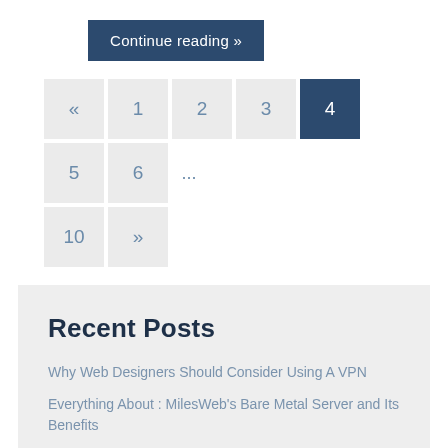Continue reading »
« 1 2 3 4 5 6 ... 10 »
Recent Posts
Why Web Designers Should Consider Using A VPN
Everything About : MilesWeb's Bare Metal Server and Its Benefits
The Future of Blockchain: What Will It Mean for the World?